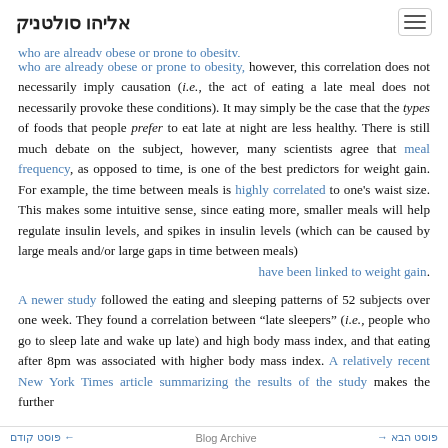אליהו סולטניק
who are already obese or prone to obesity, however, this correlation does not necessarily imply causation (i.e., the act of eating a late meal does not necessarily provoke these conditions). It may simply be the case that the types of foods that people prefer to eat late at night are less healthy. There is still much debate on the subject, however, many scientists agree that meal frequency, as opposed to time, is one of the best predictors for weight gain. For example, the time between meals is highly correlated to one's waist size. This makes some intuitive sense, since eating more, smaller meals will help regulate insulin levels, and spikes in insulin levels (which can be caused by large meals and/or large gaps in time between meals) .have been linked to weight gain
A newer study followed the eating and sleeping patterns of 52 subjects over one week. They found a correlation between "late sleepers" (i.e., people who go to sleep late and wake up late) and high body mass index, and that eating after 8pm was associated with higher body mass index. A relatively recent New York Times article summarizing the results of the study makes the further
פוסט קודם | Blog Archive | פוסט הבא